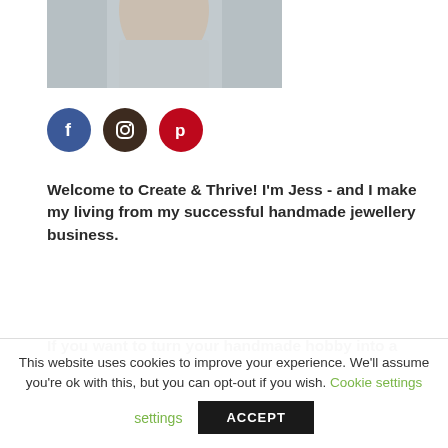[Figure (photo): Partial photo of a woman with blonde hair wearing a grey top, cropped at chest level]
[Figure (infographic): Three circular social media icons: Facebook (blue, letter f), Instagram (dark brown, camera icon), Pinterest (red, letter p)]
Welcome to Create & Thrive! I'm Jess - and I make my living from my successful handmade jewellery business.
If you want to turn your handmade hobby into a
This website uses cookies to improve your experience. We'll assume you're ok with this, but you can opt-out if you wish. Cookie settings ACCEPT